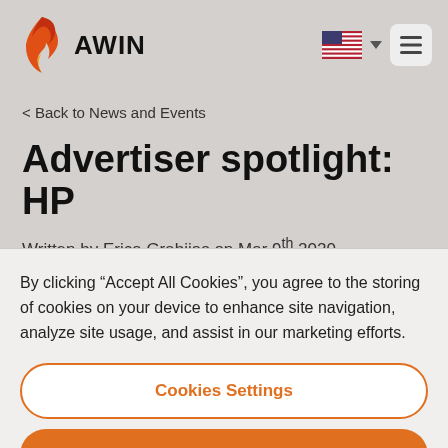[Figure (logo): Awin logo with orange/red flame icon and bold AWIN text]
< Back to News and Events
Advertiser spotlight: HP
Written by Erica Grabijas on Mar 9th 2020.
By clicking “Accept All Cookies”, you agree to the storing of cookies on your device to enhance site navigation, analyze site usage, and assist in our marketing efforts.
Cookies Settings
Reject All
Accept All Cookies